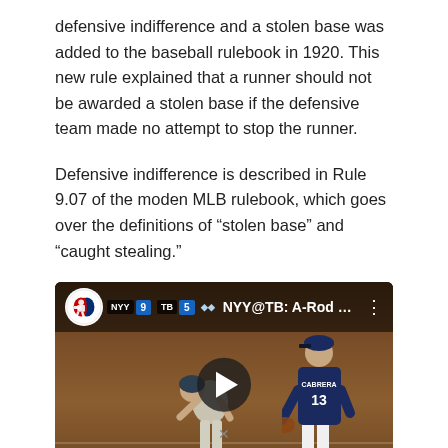defensive indifference and a stolen base was added to the baseball rulebook in 1920. This new rule explained that a runner should not be awarded a stolen base if the defensive team made no attempt to stop the runner.
Defensive indifference is described in Rule 9.07 of the moden MLB rulebook, which goes over the definitions of “stolen base” and “caught stealing.”
[Figure (screenshot): Embedded YouTube video thumbnail showing NYY@TB: A-Rod advances on def... with MLB logo, scoreboard showing NYY 9 TB 5, two baseball players on a dirt field, and a play button overlay. Player on right wearing jersey number 13 CABRERA.]